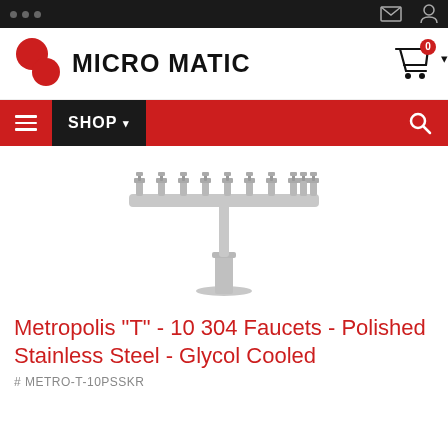[Figure (screenshot): Browser top bar with three dots and icons for mail and user account]
[Figure (logo): Micro Matic logo with two red circles and bold text MICRO MATIC, with shopping cart icon showing 0 items]
[Figure (screenshot): Navigation bar in red with hamburger menu, black SHOP button with dropdown arrow, and search icon on right]
[Figure (photo): Stainless steel T-shaped beer tower with 10 faucets arranged horizontally on a T-bar, mounted on a pedestal base]
Metropolis "T" - 10 304 Faucets - Polished Stainless Steel - Glycol Cooled
# METRO-T-10PSSKR